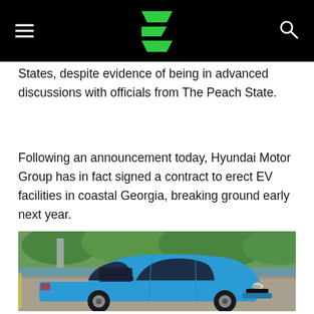[Figure (logo): Electrek logo: green double lightning bolt E symbol on black background header bar with hamburger menu and search icon]
States, despite evidence of being in advanced discussions with officials from The Peach State.
Following an announcement today, Hyundai Motor Group has in fact signed a contract to erect EV facilities in coastal Georgia, breaking ground early next year.
[Figure (photo): A bright blue Hyundai Kona Electric SUV parked in a parking lot with trees, water, and a concrete pillar visible in the background.]